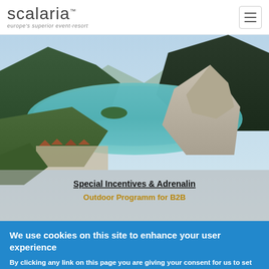scalaria™ — europe's superior event-resort
[Figure (photo): Aerial photograph of a mountain lake (Mondsee/Wolfgangsee area, Austria) surrounded by forested mountains and alpine villages, with a rocky peak in the foreground. Overlaid text reads 'Special Incentives & Adrenalin' and 'Outdoor Programm for B2B'.]
Special Incentives & Adrenalin
Outdoor Programm for B2B
We use cookies on this site to enhance your user experience
By clicking any link on this page you are giving your consent for us to set cookies.
OK, I agree   More info